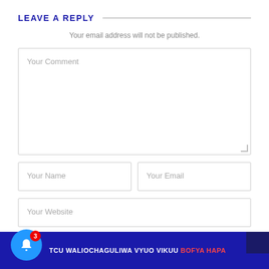LEAVE A REPLY
Your email address will not be published.
Your Comment
Your Name
Your Email
Your Website
TCU WALIOCHAGULIWA VYUO VIKUU BOFYA HAPA